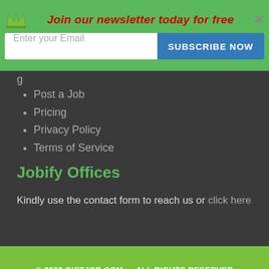[Figure (infographic): Newsletter subscription banner with crown logo, red italic heading 'Join our newsletter today for free', email input field, and blue 'SUBSCRIBE NOW' button, on green background with X close button]
Post a Job
Pricing
Privacy Policy
Terms of Service
Jobify Offices
Kindly use the contact form to reach us or click here
© 2022 GISTJOB.COM — ALL RIGHTS RESERVED